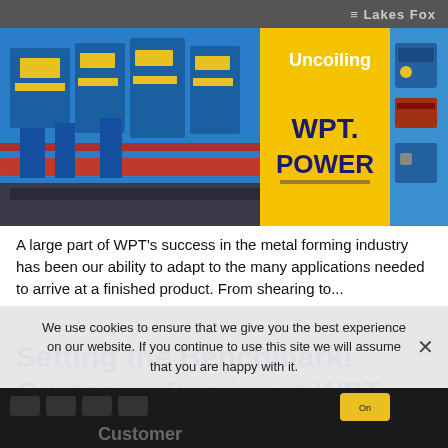Lakes Fox
[Figure (photo): Industrial metal forming machinery in blue and yellow, with WPT Power logo and 'Uncoiling' text overlay on yellow background, and close-up of mechanical component on right]
A large part of WPT's success in the metal forming industry has been our ability to adapt to the many applications needed to arrive at a finished product. From shearing to...
Setting the Benchmark! Customer Service at WPT Power
We use cookies to ensure that we give you the best experience on our website. If you continue to use this site we will assume that you are happy with it.
[Figure (photo): Close-up of a keyboard with 'Customer' text visible, dark background]